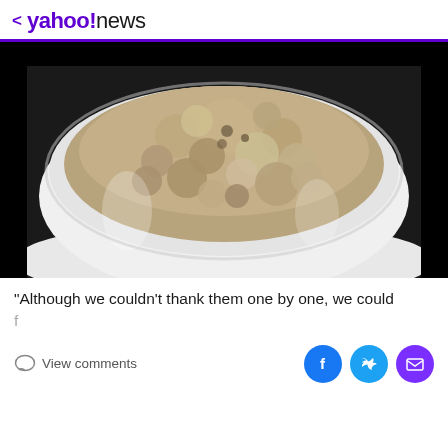< yahoo!news
[Figure (photo): A white bowl filled with cooked oatmeal/porridge, viewed from above at a slight angle, on a white surface with a black background above]
"Although we couldn't thank them one by one, we could f...
View comments